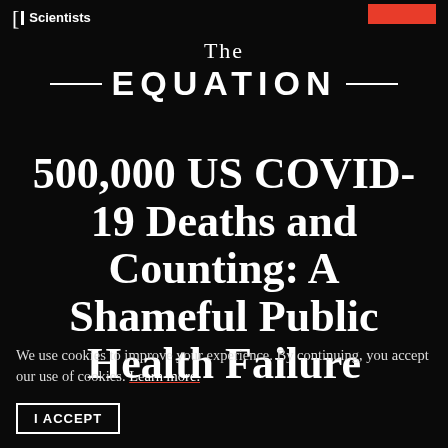Scientists
The EQUATION
500,000 US COVID-19 Deaths and Counting: A Shameful Public Health Failure
We use cookies to improve your experience. By continuing, you accept our use of cookies. Learn more.
I ACCEPT